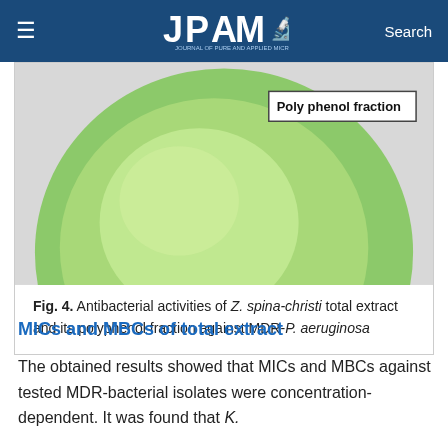JPAM — Journal of Pure and Applied Microbiology | Search
[Figure (photo): Petri dish photograph showing antibacterial activity (green agar plate) labeled 'Poly phenol fraction']
Fig. 4. Antibacterial activities of Z. spina-christi total extract and its polyphenol fraction against MDR-P. aeruginosa
MICs and MBCs of total extract
The obtained results showed that MICs and MBCs against tested MDR-bacterial isolates were concentration-dependent. It was found that K.